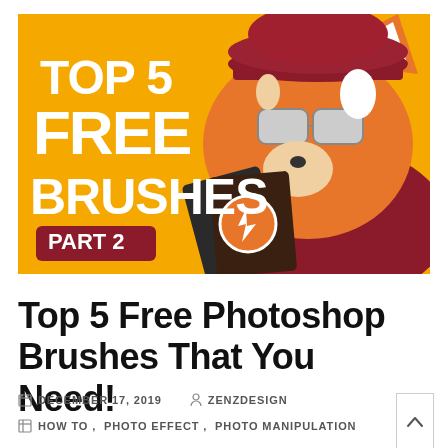[Figure (illustration): Illustrated promotional banner with orange background showing a stylized fox/cat character wearing a baseball cap and holding Photoshop brush cards. White bold text reads TOP 5 FREE BRUSHES with a dark red badge reading PART 2.]
Top 5 Free Photoshop Brushes That You Need!
DECEMBER 17, 2019   ZENZDESIGN
HOW TO, PHOTO EFFECT, PHOTO MANIPULATION